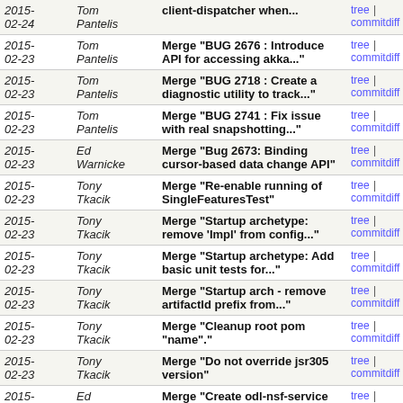| Date | Author | Message | Links |
| --- | --- | --- | --- |
| 2015-02-24 | Tom Pantelis | client-dispatcher when... | tree | commitdiff |
| 2015-02-23 | Tom Pantelis | Merge "BUG 2676 : Introduce API for accessing akka..." | tree | commitdiff |
| 2015-02-23 | Tom Pantelis | Merge "BUG 2718 : Create a diagnostic utility to track..." | tree | commitdiff |
| 2015-02-23 | Tom Pantelis | Merge "BUG 2741 : Fix issue with real snapshotting..." | tree | commitdiff |
| 2015-02-23 | Ed Warnicke | Merge "Bug 2673: Binding cursor-based data change API" | tree | commitdiff |
| 2015-02-23 | Tony Tkacik | Merge "Re-enable running of SingleFeaturesTest" | tree | commitdiff |
| 2015-02-23 | Tony Tkacik | Merge "Startup archetype: remove 'Impl' from config..." | tree | commitdiff |
| 2015-02-23 | Tony Tkacik | Merge "Startup archetype: Add basic unit tests for..." | tree | commitdiff |
| 2015-02-23 | Tony Tkacik | Merge "Startup arch - remove artifactId prefix from..." | tree | commitdiff |
| 2015-02-23 | Tony Tkacik | Merge "Cleanup root pom "name"." | tree | commitdiff |
| 2015-02-23 | Tony Tkacik | Merge "Do not override jsr305 version" | tree | commitdiff |
| 2015-02-24 | Ed Warnicke | Merge "Create odl-nsf-service feature, which excludes..." | tree | commitdiff |
| 2015-02-21 | Ed Warnicke | Re-enable running of SingleFeaturesTest 90/15590/1 | tree | commitdiff |
| 2015-02-21 | Tom Pantelis | Merge "Fix for Bug 2727 - Upgrade Akka from 2.3.4 to..." | tree | commitdiff |